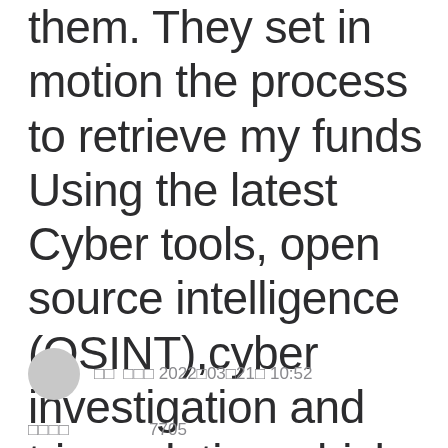them. They set in motion the process to retrieve my funds Using the latest Cyber tools, open source intelligence (OSINT),cyber investigation and triangulation which was worked successfully.
□□ □□□ 2022□03□21□ 10:52
□□□□ 7705